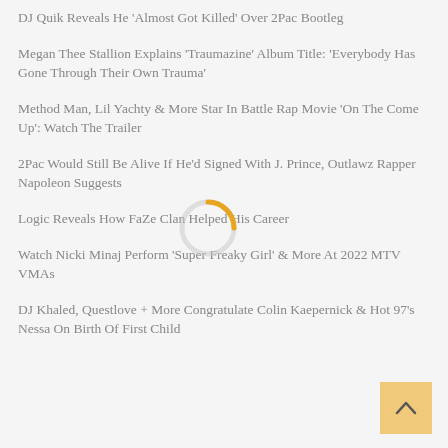DJ Quik Reveals He 'Almost Got Killed' Over 2Pac Bootleg
Megan Thee Stallion Explains 'Traumazine' Album Title: 'Everybody Has Gone Through Their Own Trauma'
Method Man, Lil Yachty & More Star In Battle Rap Movie 'On The Come Up': Watch The Trailer
2Pac Would Still Be Alive If He'd Signed With J. Prince, Outlawz Rapper Napoleon Suggests
Logic Reveals How FaZe Clan Helped His Career
Watch Nicki Minaj Perform 'Super Freaky Girl' & More At 2022 MTV VMAs
DJ Khaled, Questlove + More Congratulate Colin Kaepernick & Hot 97's Nessa On Birth Of First Child
[Figure (other): Loading spinner icon — circular arc in orange/yellow color on a light gray circle background]